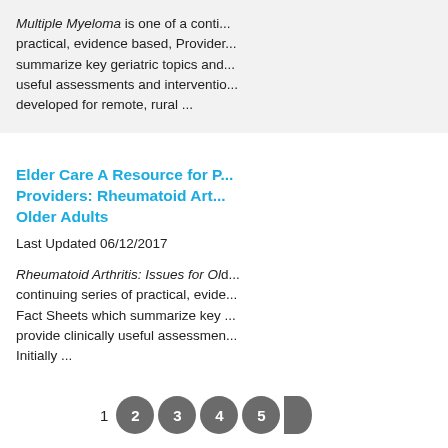Multiple Myeloma is one of a continuing series of practical, evidence based, Provider Fact Sheets which summarize key geriatric topics and provide clinically useful assessments and interventions. Initially developed for remote, rural ...
Elder Care A Resource for Providers: Rheumatoid Arthritis in Older Adults
Last Updated 06/12/2017
Rheumatoid Arthritis: Issues for Older Adults is one of a continuing series of practical, evidence based, Provider Fact Sheets which summarize key geriatric topics and provide clinically useful assessments and interventions. Initially ...
1  2  3  4  5  ...